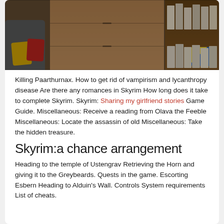[Figure (photo): Photo of a living room interior showing a grey chair with yellow and red cushions, a wooden drawer unit in the center, and a bookshelf with books on the right side.]
Killing Paarthurnax. How to get rid of vampirism and lycanthropy disease Are there any romances in Skyrim How long does it take to complete Skyrim. Skyrim: Sharing my girlfriend stories Game Guide. Miscellaneous: Receive a reading from Olava the Feeble Miscellaneous: Locate the assassin of old Miscellaneous: Take the hidden treasure.
Skyrim:a chance arrangement
Heading to the temple of Ustengrav Retrieving the Horn and giving it to the Greybeards. Quests in the game. Escorting Esbern Heading to Alduin's Wall. Controls System requirements List of cheats.